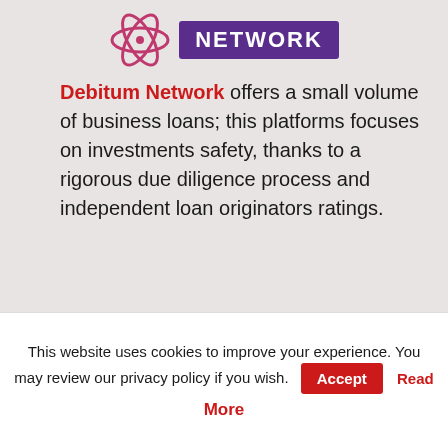[Figure (logo): Debitum Network logo — pink/purple atomic orbit icon on the left, purple rectangle badge with white text 'NETWORK' on the right]
Debitum Network offers a small volume of business loans; this platforms focuses on investments safety, thanks to a rigorous due diligence process and independent loan originators ratings.
[Figure (logo): EstateGuru logo — light gray house icon and 'Estateguru' wordmark in light gray]
EstateGuru is a direct competitor to CrowdEstate.
This website uses cookies to improve your experience. You may review our privacy policy if you wish. Accept Read More